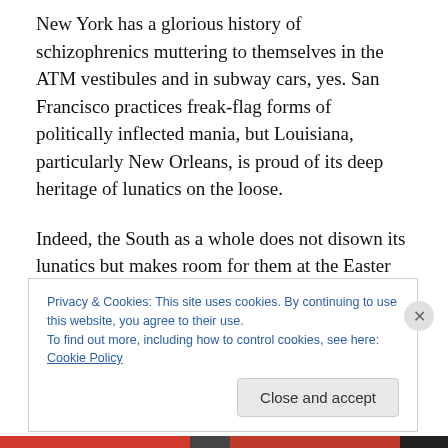New York has a glorious history of schizophrenics muttering to themselves in the ATM vestibules and in subway cars, yes. San Francisco practices freak-flag forms of politically inflected mania, but Louisiana, particularly New Orleans, is proud of its deep heritage of lunatics on the loose.
Indeed, the South as a whole does not disown its lunatics but makes room for them at the Easter Brunch table.
“Miz Johnson has her ways,” parents explain to children about the neighbor who stands on her front porch
Privacy & Cookies: This site uses cookies. By continuing to use this website, you agree to their use.
To find out more, including how to control cookies, see here: Cookie Policy
Close and accept